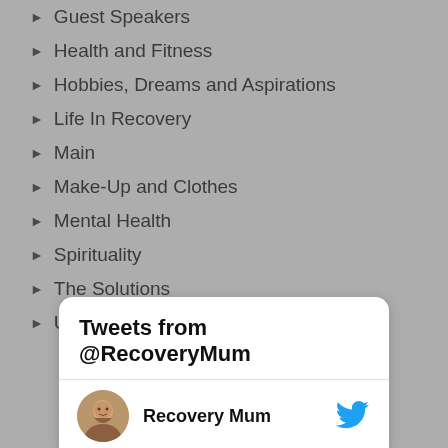Guest Speakers
Health and Fitness
Hobbies, Dreams and Aspirations
Life In Recovery
Main
Make-Up and Clothes
Mental Health
Spirituality
The Solutions
Uncategorized
Tweets from @RecoveryMum
Recovery Mum